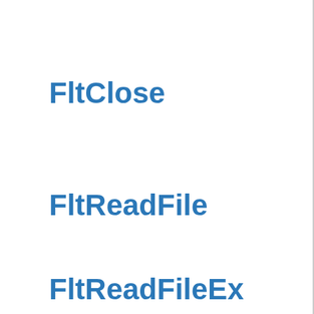FltClose
FltReadFile
FltReadFileEx
FltWriteFile